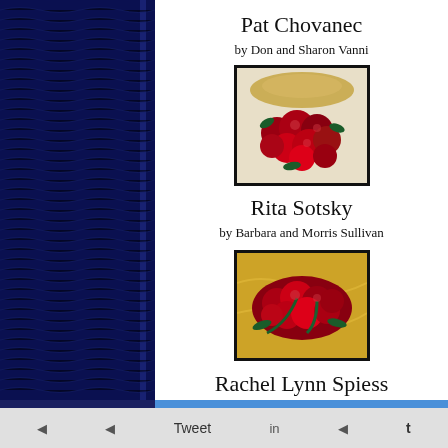Pat Chovanec
by Don and Sharon Vanni
[Figure (photo): A bouquet of red roses wrapped in paper/ribbon, viewed from above]
Rita Sotsky
by Barbara and Morris Sullivan
[Figure (photo): A bouquet of red roses laid on golden/yellow fabric]
Rachel Lynn Spiess
Tweet